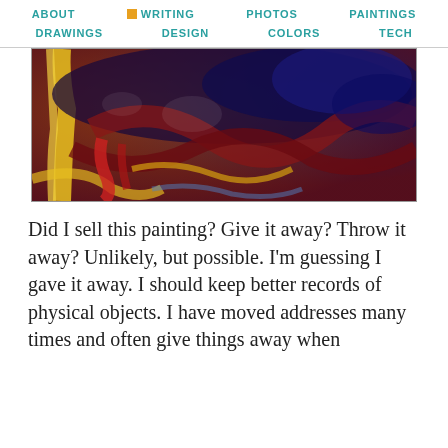ABOUT  WRITING  PHOTOS  PAINTINGS  DRAWINGS  DESIGN  COLORS  TECH
[Figure (photo): Abstract expressionist painting with swirling dark purples, blues, reds, and golds — an impasto-textured oil painting with dramatic brushwork.]
Did I sell this painting? Give it away? Throw it away? Unlikely, but possible. I'm guessing I gave it away. I should keep better records of physical objects. I have moved addresses many times and often give things away when